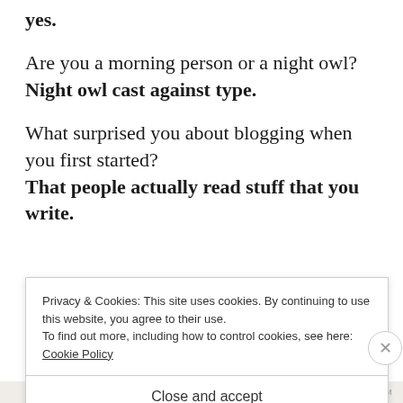yes.
Are you a morning person or a night owl?
Night owl cast against type.
What surprised you about blogging when you first started?
That people actually read stuff that you write.
Privacy & Cookies: This site uses cookies. By continuing to use this website, you agree to their use.
To find out more, including how to control cookies, see here: Cookie Policy
Close and accept